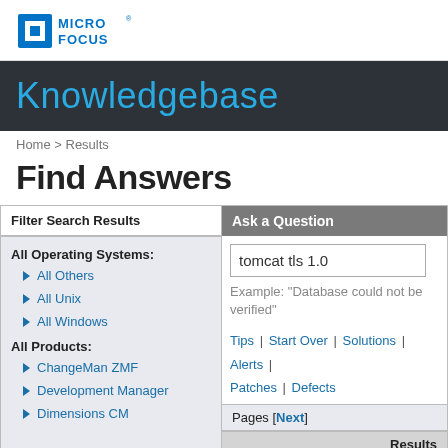[Figure (logo): Micro Focus logo — blue square icon and MICRO FOCUS text in blue]
Knowledgebase
Home > Results
Find Answers
Filter Search Results
All Operating Systems:
All Others
All Unix
All Windows
All Products:
ChangeMan ZMF
Development Manager
Dimensions CM
Ask a Question
tomcat tls 1.0
Example: "Database could not be verified"
Tips | Start Over | Solutions | Alerts | Patches | Defects
Pages [Next]
| Results |
| --- |